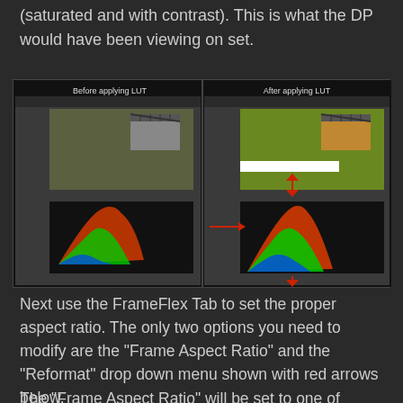(saturated and with contrast). This is what the DP would have been viewing on set.
[Figure (screenshot): Side-by-side comparison screenshots of video editing software showing 'Before applying LUT' and 'After applying LUT' panels, each displaying a video frame and RGB histogram. Red arrows indicate differences.]
Next use the FrameFlex Tab to set the proper aspect ratio. The only two options you need to modify are the "Frame Aspect Ratio" and the "Reformat" drop down menu shown with red arrows below.
The "Frame Aspect Ratio" will be set to one of